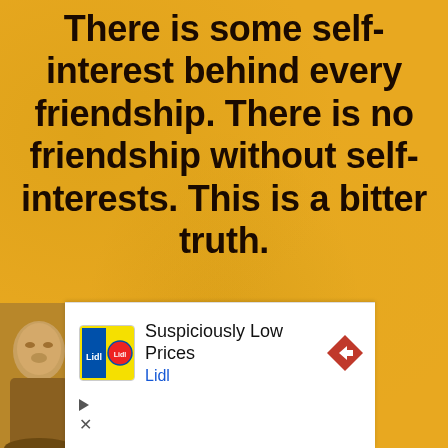There is some self-interest behind every friendship. There is no friendship without self-interests. This is a bitter truth.
[Figure (screenshot): Advertisement banner for Lidl with text 'Suspiciously Low Prices' and Lidl brand name, with a navigation arrow icon and ad controls (play and close buttons). A partial image of a person's face appears at bottom-left.]